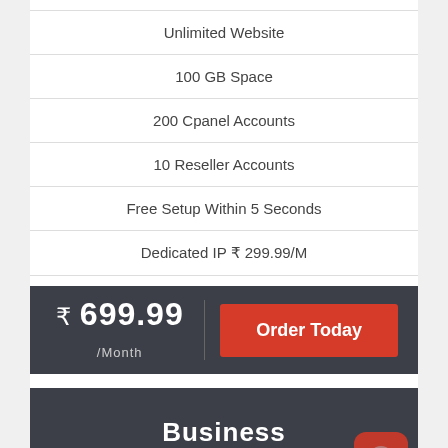Unlimited Website
100 GB Space
200 Cpanel Accounts
10 Reseller Accounts
Free Setup Within 5 Seconds
Dedicated IP ₹ 299.99/M
₹ 699.99 /Month   Order Today
Business